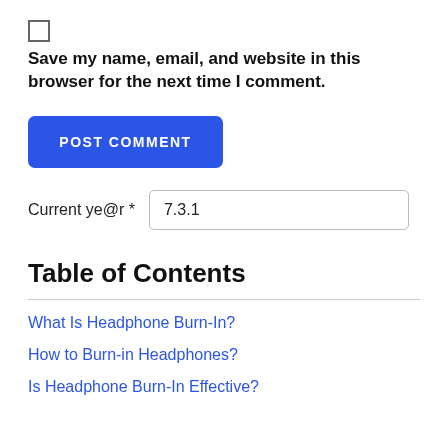Save my name, email, and website in this browser for the next time I comment.
POST COMMENT
Current ye@r *   7.3.1
Table of Contents
What Is Headphone Burn-In?
How to Burn-in Headphones?
Is Headphone Burn-In Effective?